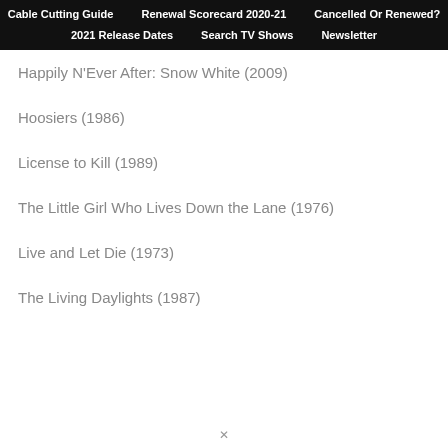Cable Cutting Guide | Renewal Scorecard 2020-21 | Cancelled Or Renewed? | 2021 Release Dates | Search TV Shows | Newsletter
Happily N'Ever After: Snow White (2009)
Hoosiers (1986)
License to Kill (1989)
The Little Girl Who Lives Down the Lane (1976)
Live and Let Die (1973)
The Living Daylights (1987)